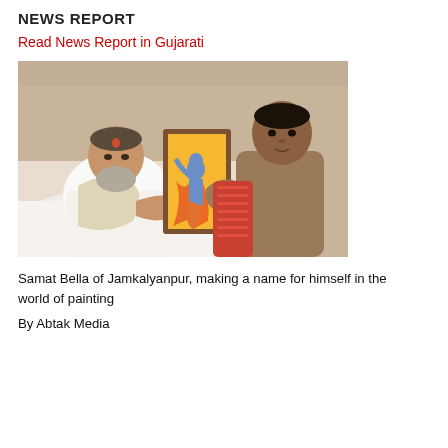NEWS REPORT
Read News Report in Gujarati
[Figure (photo): Two men holding a framed painting of a dancing Krishna figure with orange/yellow background. The man on the left is seated, wearing white clothing and appears to be a religious figure. The man on the right is standing, wearing a brown shirt, and presenting the painting.]
Samat Bella of Jamkalyanpur, making a name for himself in the world of painting
By Abtak Media